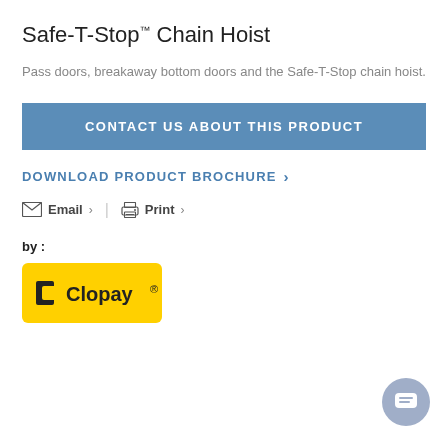Safe-T-Stop™ Chain Hoist
Pass doors, breakaway bottom doors and the Safe-T-Stop chain hoist.
CONTACT US ABOUT THIS PRODUCT
DOWNLOAD PRODUCT BROCHURE >
Email > | Print >
by :
[Figure (logo): Clopay logo on yellow background]